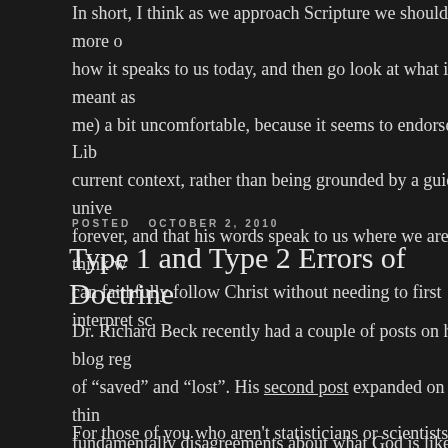In short, I think as we approach Scripture we should be more o how it speaks to us today, and then go look at what it meant as me) a bit uncomfortable, because it seems to endorse the Lib current context, rather than being grounded by a guiding, unive forever, and that his words speak to us where we are, I think w can faithfully follow Christ without needing to first interpret sc
POSTED
OCTOBER 2, 2010
Type 1 and Type 2 Errors of Doctrine
Dr. Richard Beck recently had a couple of posts on his blog reg of “saved” and “lost”. His second post expanded on the (I thin fundamentally disagreements about what God is like. Both of and Type 2 errors in terms of things like doctrine.
For those of you who aren't statisticians or scientists dealing w use when talking about the kinds of errors we can make when with statistics, you need to think of Type 1 and Type 2